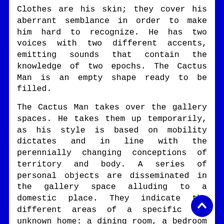Clothes are his skin; they cover his aberrant semblance in order to make him hard to recognize. He has two voices with two different accents, emitting sounds that contain the knowledge of two epochs. The Cactus Man is an empty shape ready to be filled.
The Cactus Man takes over the gallery spaces. He takes them up temporarily, as his style is based on mobility dictates and in line with the perennially changing conceptions of territory and body. A series of personal objects are disseminated in the gallery space alluding to a domestic place. They indicate the different areas of a specific and unknown home: a dining room, a bedroom and a basement. The group of objects can be easily put in a suitcase to be transported from the current residence to the next one, as they will be displaced once more.